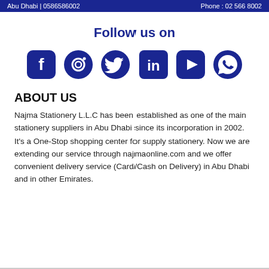Abu Dhabi | 0586586002   Phone: 02 566 8002
Follow us on
[Figure (infographic): Six social media icons in dark navy blue: Facebook, Instagram, Twitter, LinkedIn, YouTube, WhatsApp]
ABOUT US
Najma Stationery L.L.C has been established as one of the main stationery suppliers in Abu Dhabi since its incorporation in 2002. It's a One-Stop shopping center for supply stationery. Now we are extending our service through najmaonline.com and we offer convenient delivery service (Card/Cash on Delivery) in Abu Dhabi and in other Emirates.